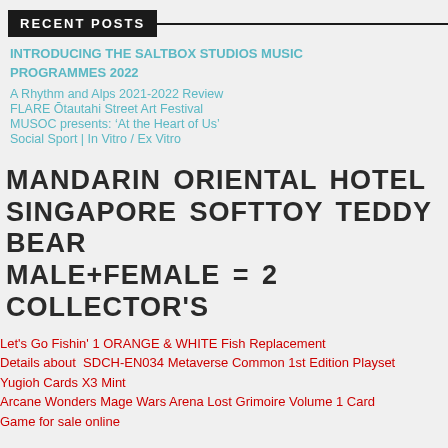RECENT POSTS
INTRODUCING THE SALTBOX STUDIOS MUSIC PROGRAMMES 2022
A Rhythm and Alps 2021-2022 Review
FLARE Ōtautahi Street Art Festival
MUSOC presents: ‘At the Heart of Us’
Social Sport | In Vitro / Ex Vitro
MANDARIN ORIENTAL HOTEL SINGAPORE SOFTTOY TEDDY BEAR MALE+FEMALE = 2 COLLECTOR'S
Let's Go Fishin' 1 ORANGE & WHITE Fish Replacement
Details about  SDCH-EN034 Metaverse Common 1st Edition Playset Yugioh Cards X3 Mint
Arcane Wonders Mage Wars Arena Lost Grimoire Volume 1 Card Game for sale online